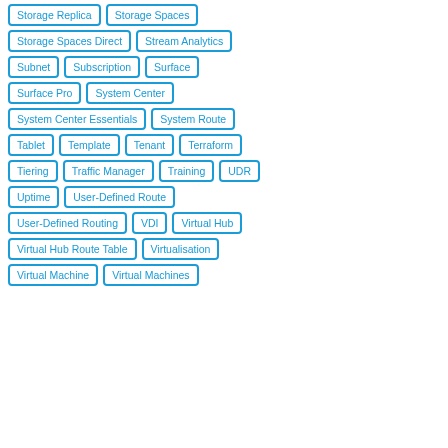Storage Replica
Storage Spaces
Storage Spaces Direct
Stream Analytics
Subnet
Subscription
Surface
Surface Pro
System Center
System Center Essentials
System Route
Tablet
Template
Tenant
Terraform
Tiering
Traffic Manager
Training
UDR
Uptime
User-Defined Route
User-Defined Routing
VDI
Virtual Hub
Virtual Hub Route Table
Virtualisation
Virtual Machine
Virtual Machines